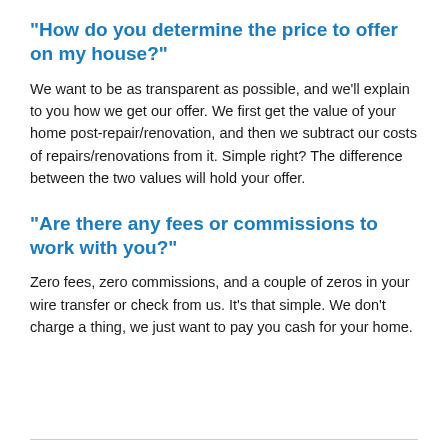"How do you determine the price to offer on my house?"
We want to be as transparent as possible, and we'll explain to you how we get our offer. We first get the value of your home post-repair/renovation, and then we subtract our costs of repairs/renovations from it. Simple right? The difference between the two values will hold your offer.
"Are there any fees or commissions to work with you?"
Zero fees, zero commissions, and a couple of zeros in your wire transfer or check from us. It's that simple. We don't charge a thing, we just want to pay you cash for your home.